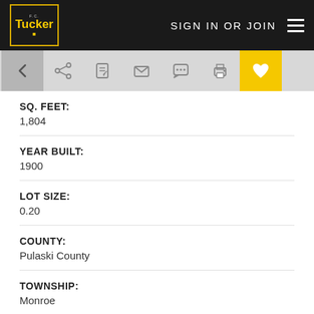F.C. Tucker - SIGN IN OR JOIN
SQ. FEET:
1,804
YEAR BUILT:
1900
LOT SIZE:
0.20
COUNTY:
Pulaski County
TOWNSHIP:
Monroe
SCHOOL SYSTEM :
Eastern Pulaski Community